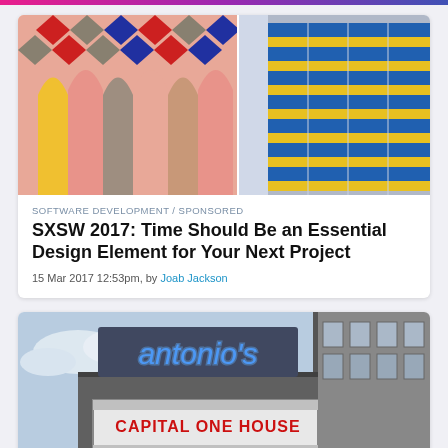[Figure (photo): Split image: left side shows a colorful geometric pattern mural with diamond shapes and pencil/arch forms in red, pink, yellow, gray tones; right side shows a corner of a building with blue and yellow horizontal striped brickwork pattern.]
SOFTWARE DEVELOPMENT / SPONSORED
SXSW 2017: Time Should Be an Essential Design Element for Your Next Project
15 Mar 2017 12:53pm, by Joab Jackson
[Figure (photo): Exterior of a venue with a blue neon cursive sign at the top and a marquee sign below reading 'CAPITAL ONE HOUSE'. The building facade is visible on the right side.]